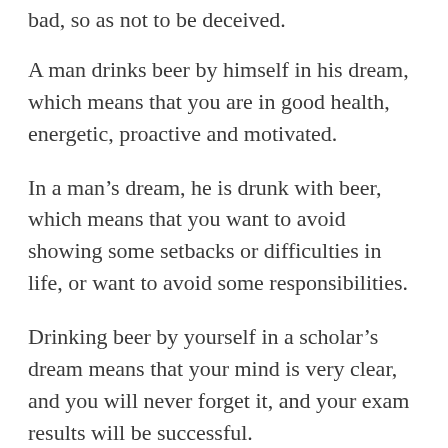bad, so as not to be deceived.
A man drinks beer by himself in his dream, which means that you are in good health, energetic, proactive and motivated.
In a man’s dream, he is drunk with beer, which means that you want to avoid showing some setbacks or difficulties in life, or want to avoid some responsibilities.
Drinking beer by yourself in a scholar’s dream means that your mind is very clear, and you will never forget it, and your exam results will be successful.
Drinking beer by yourself in the dream of pregnant women means that your family may have some